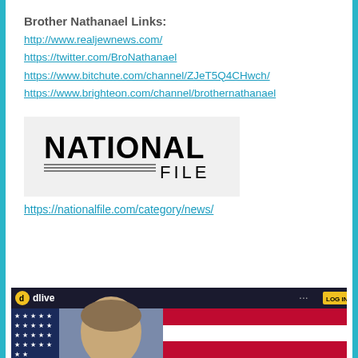Brother Nathanael Links:
http://www.realjewnews.com/
https://twitter.com/BroNathanael
https://www.bitchute.com/channel/ZJeT5Q4CHwch/
https://www.brighteon.com/channel/brothernathanael
[Figure (logo): National File logo — large bold text 'NATIONAL' over horizontal lines and 'FILE' to the right]
https://nationalfile.com/category/news/
[Figure (screenshot): DLive website screenshot showing dark top bar with dlive logo and LOG IN button, and below that a person's photo on the left with US flag on the right]